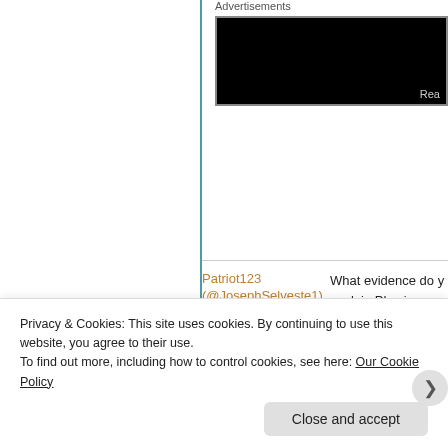Advertisements
[Figure (other): Black advertisement banner with 'Rea...' text visible at bottom right]
Patriot123 (@JosephSelveste1)
July 19, 2018
[Figure (photo): Small image placeholder icon]
What evidence do y work in Physics an Kerala book of Cal mathematician has established a link. Newton wrote his b Newton read the bo before he wrote his s is
Privacy & Cookies: This site uses cookies. By continuing to use this website, you agree to their use.
To find out more, including how to control cookies, see here: Our Cookie Policy
Close and accept